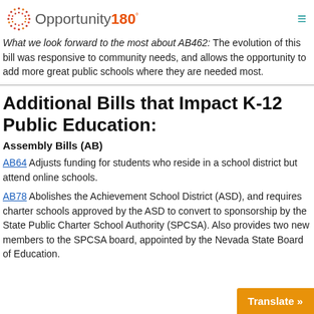Opportunity180°
What we look forward to the most about AB462: The evolution of this bill was responsive to community needs, and allows the opportunity to add more great public schools where they are needed most.
Additional Bills that Impact K-12 Public Education:
Assembly Bills (AB)
AB64 Adjusts funding for students who reside in a school district but attend online schools.
AB78 Abolishes the Achievement School District (ASD), and requires charter schools approved by the ASD to convert to sponsorship by the State Public Charter School Authority (SPCSA). Also provides two new members to the SPCSA board, appointed by the Nevada State Board of Education.